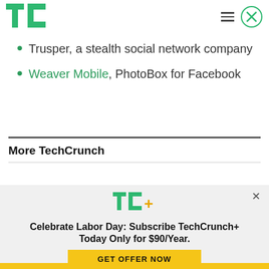[Figure (logo): TechCrunch TC green logo in top left header]
Trusper, a stealth social network company
Weaver Mobile, PhotoBox for Facebook
More TechCrunch
[Figure (infographic): TechCrunch+ subscription promotion popup with TC+ logo, text 'Celebrate Labor Day: Subscribe TechCrunch+ Today Only for $90/Year.' and GET OFFER NOW button]